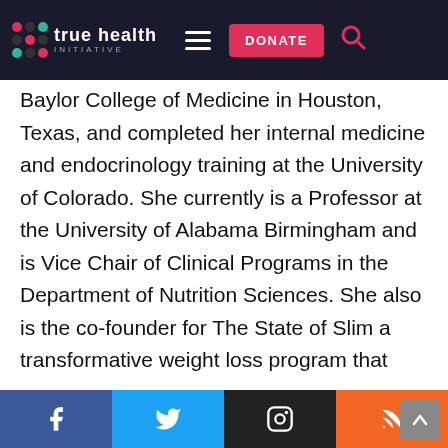True Health Initiative — navigation bar with logo, hamburger menu, DONATE button, and search icon
Baylor College of Medicine in Houston, Texas, and completed her internal medicine and endocrinology training at the University of Colorado. She currently is a Professor at the University of Alabama Birmingham and is Vice Chair of Clinical Programs in the Department of Nutrition Sciences. She also is the co-founder for The State of Slim a transformative weight loss program that specializes in long-term strategies for weight management and transforming your life. Dr. Wyatt has more than 20 y... of ...cal ...rie... in weight
Social media icons: Facebook, Twitter, Instagram, RSS